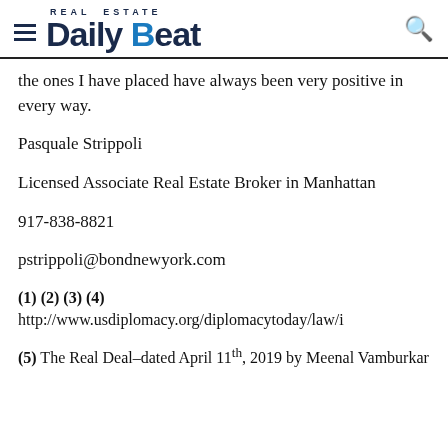REAL ESTATE Daily Beat
the ones I have placed have always been very positive in every way.
Pasquale Strippoli
Licensed Associate Real Estate Broker in Manhattan
917-838-8821
pstrippoli@bondnewyork.com
(1) (2) (3) (4) http://www.usdiplomacy.org/diplomacytoday/law/i
(5) The Real Deal–dated April 11th, 2019 by Meenal Vamburkar